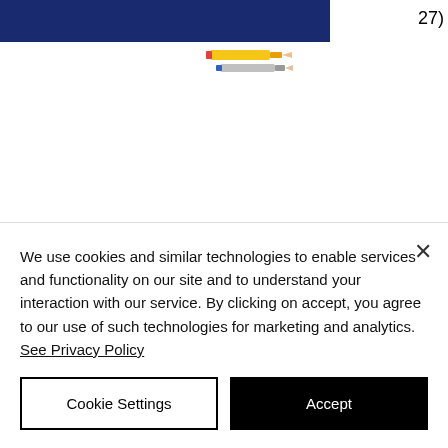[Figure (screenshot): Partial navy blue header bar with the number 27) visible at top right, and a partial pencil/crayon image below it]
[Figure (logo): Hour of Code logo: teal/turquoise rounded square with white text reading HOUR OF CODE]
Computer Science Education week and (the)Hour of Code (Dec. 7-13)
We use cookies and similar technologies to enable services and functionality on our site and to understand your interaction with our service. By clicking on accept, you agree to our use of such technologies for marketing and analytics. See Privacy Policy